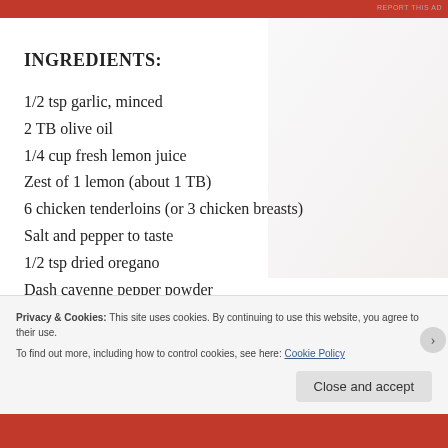[Figure (photo): Red ad banner at top of page]
REPORT THIS AD
INGREDIENTS:
1/2 tsp garlic, minced
2 TB olive oil
1/4 cup fresh lemon juice
Zest of 1 lemon (about 1 TB)
6 chicken tenderloins (or 3 chicken breasts)
Salt and pepper to taste
1/2 tsp dried oregano
Dash cayenne pepper powder
1/4 cup white wine (or chicken broth)
Privacy & Cookies: This site uses cookies. By continuing to use this website, you agree to their use.
To find out more, including how to control cookies, see here: Cookie Policy
Close and accept